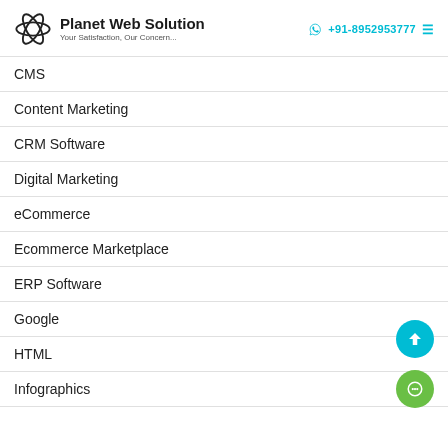Planet Web Solution — Your Satisfaction, Our Concern... | +91-8952953777
CMS
Content Marketing
CRM Software
Digital Marketing
eCommerce
Ecommerce Marketplace
ERP Software
Google
HTML
Infographics